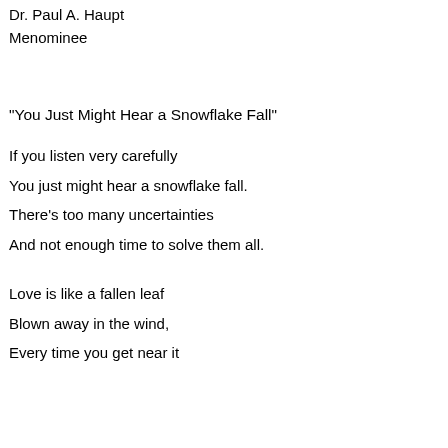Dr. Paul A. Haupt
Menominee
"You Just Might Hear a Snowflake Fall"
If you listen very carefully
You just might hear a snowflake fall.
There’s too many uncertainties
And not enough time to solve them all.
Love is like a fallen leaf
Blown away in the wind,
Every time you get near it